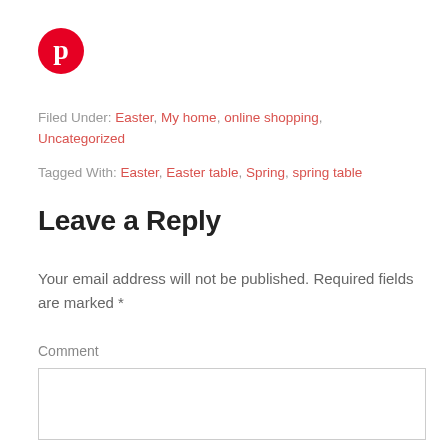[Figure (logo): Pinterest circular logo — red circle with white P]
Filed Under: Easter, My home, online shopping, Uncategorized
Tagged With: Easter, Easter table, Spring, spring table
Leave a Reply
Your email address will not be published. Required fields are marked *
Comment